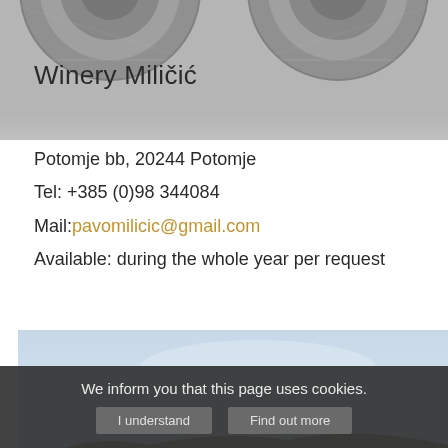[Figure (photo): Header image showing winery steel barrels/tanks viewed from above, in grayscale]
Winery Miličić
Potomje bb, 20244 Potomje
Tel: +385 (0)98 344084
Mail: pavomilicic@gmail.com
Available: during the whole year per request
[Figure (photo): Landscape photo showing vineyard fields with hills and clear sky in the background]
We inform you that this page uses cookies.
I understand   Find out more